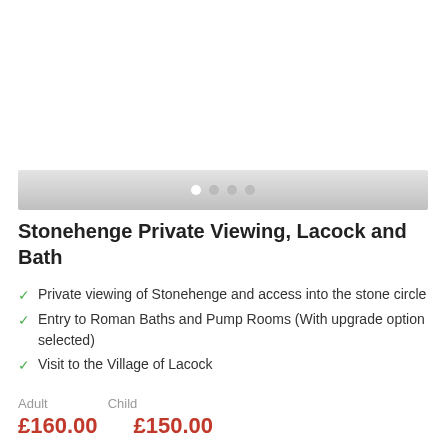[Figure (photo): Image carousel area showing a tour photo, with navigation dots at the bottom indicating 4 slides (first dot active/white, rest grey)]
Stonehenge Private Viewing, Lacock and Bath
Private viewing of Stonehenge and access into the stone circle
Entry to Roman Baths and Pump Rooms (With upgrade option selected)
Visit to the Village of Lacock
Adult   Child
£160.00   £150.00